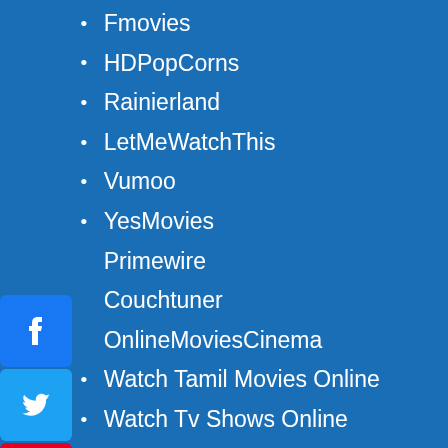Fmovies
HDPopCorns
Rainierland
LetMeWatchThis
Vumoo
YesMovies
Primewire
Couchtuner
OnlineMoviesCinema
Watch Tamil Movies Online
Watch Tv Shows Online
Free Movie Streaming Sites
Free Horror Movie Streaming Sites
Best Sites To Watch Avengers Endgame
Free Movie Streaming Sites Without Signup